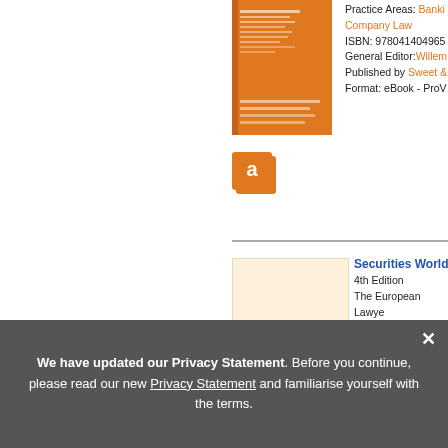[Figure (photo): Orange book cover for a banking/company law title]
Practice Areas: Banking Company Law
ISBN: 9780414049658
General Editor: Willem
Published by Sweet &
Format: eBook - ProV
[Figure (logo): Orange icon with letter 'a' on stacked pages]
[Figure (illustration): Blank cream/beige book cover placeholder]
Securities World
4th Edition
The European Lawye
Practice Areas: Banki Company Law
ISBN: 9780414049665
General Editor: Willem
Published by Sweet &
Format: Hardback, eB
[Figure (other): Two grey pagination squares]
We have updated our Privacy Statement. Before you continue, please read our new Privacy Statement and familiarise yourself with the terms.